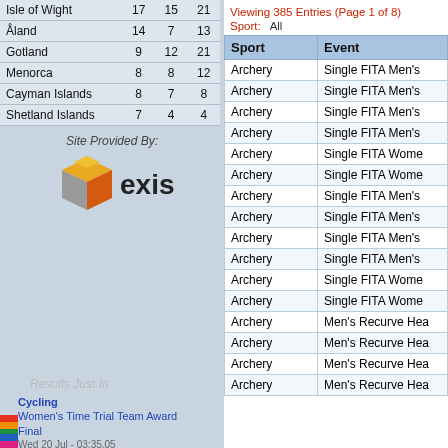|  | Gold | Silver | Bronze |
| --- | --- | --- | --- |
| Isle of Wight | 17 | 15 | 21 |
| Åland | 14 | 7 | 13 |
| Gotland | 9 | 12 | 21 |
| Menorca | 8 | 8 | 12 |
| Cayman Islands | 8 | 7 | 8 |
| Shetland Islands | 7 | 4 | 4 |
[Figure (logo): Exis logo with cube icon and 'exis' text]
Site Provided By:
Results Just In
Cycling
Women's Time Trial Team Award Final
Wed 20 Jul - 03:35.05
Football
Men's Football Medal Matches
Fri 01 Jul - 06:47.22
Basketball
Women's Basketball Medal Matches
Viewing 385 Entries (Page 1 of 8)
Sport: All
| Sport | Event |
| --- | --- |
| Archery | Single FITA Men's |
| Archery | Single FITA Men's |
| Archery | Single FITA Men's |
| Archery | Single FITA Men's |
| Archery | Single FITA Wome |
| Archery | Single FITA Wome |
| Archery | Single FITA Men's |
| Archery | Single FITA Men's |
| Archery | Single FITA Men's |
| Archery | Single FITA Men's |
| Archery | Single FITA Wome |
| Archery | Single FITA Wome |
| Archery | Men's Recurve Hea |
| Archery | Men's Recurve Hea |
| Archery | Men's Recurve Hea |
| Archery | Men's Recurve Hea |